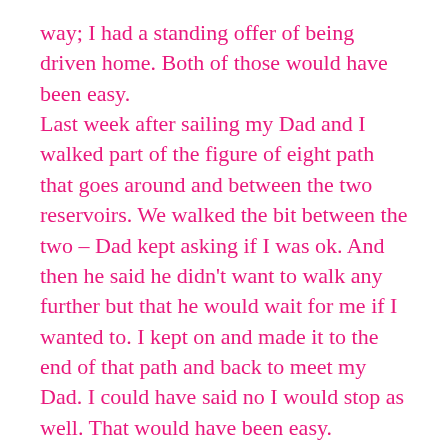way; I had a standing offer of being driven home. Both of those would have been easy.
Last week after sailing my Dad and I walked part of the figure of eight path that goes around and between the two reservoirs. We walked the bit between the two – Dad kept asking if I was ok. And then he said he didn't want to walk any further but that he would wait for me if I wanted to. I kept on and made it to the end of that path and back to meet my Dad. I could have said no I would stop as well. That would have been easy.
I've had enough of easy. Easy isn't what I want in my life any longer.